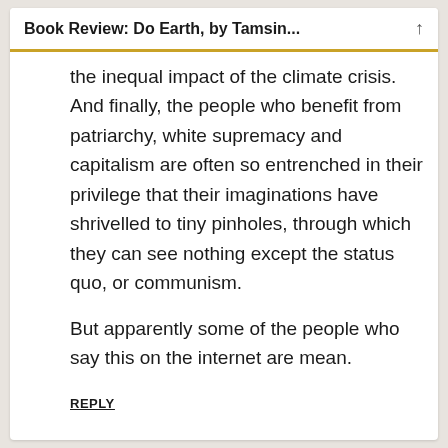Book Review: Do Earth, by Tamsin...
the inequal impact of the climate crisis. And finally, the people who benefit from patriarchy, white supremacy and capitalism are often so entrenched in their privilege that their imaginations have shrivelled to tiny pinholes, through which they can see nothing except the status quo, or communism.
But apparently some of the people who say this on the internet are mean.
REPLY